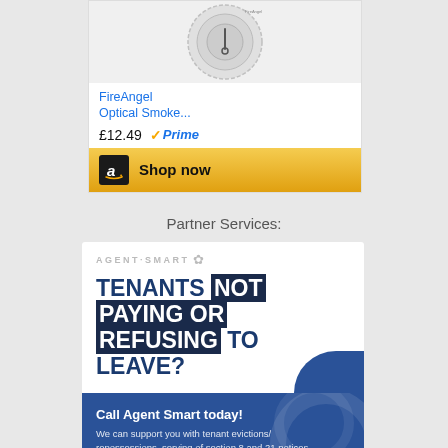[Figure (photo): Amazon product listing for FireAngel Optical Smoke detector with price £12.49 and Prime badge, with Shop now button]
FireAngel Optical Smoke...
£12.49  Prime
Shop now
Partner Services:
[Figure (infographic): Agent Smart advertisement: TENANTS NOT PAYING OR REFUSING TO LEAVE? Call Agent Smart today! We can support you with tenant evictions/repossessions, serving of section 8 and 21 notices, court applications and more!]